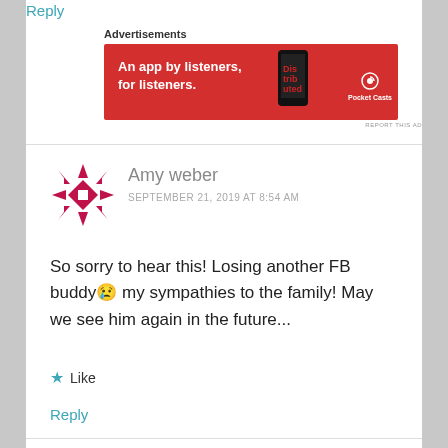Reply
Advertisements
[Figure (other): Pocket Casts advertisement banner with red background, text 'An app by listeners, for listeners.' and Pocket Casts logo]
REPORT THIS AD
[Figure (other): User avatar for Amy weber - decorative pink/red geometric pattern avatar]
Amy weber
SEPTEMBER 21, 2019 AT 8:54 AM
So sorry to hear this! Losing another FB buddy😢 my sympathies to the family! May we see him again in the future...
★ Like
Reply